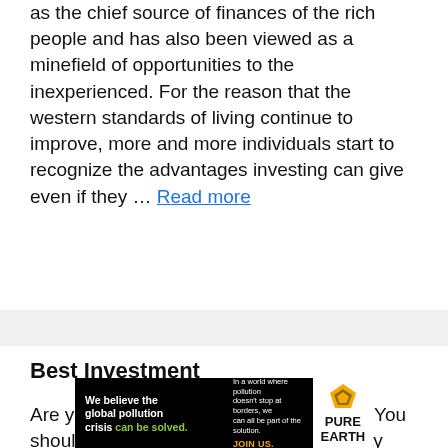as the chief source of finances of the rich people and has also been viewed as a minefield of opportunities to the inexperienced. For the reason that the western standards of living continue to improve, more and more individuals start to recognize the advantages investing can give even if they ... Read more
Best Investment
Are you looking for the best investment? You should not fail to consider the modern day
[Figure (other): Advertisement banner for Pure Earth organization. Black background on left side with text: 'We believe the global pollution crisis can be solved.' Right side has white background with Pure Earth logo (orange/gold diamond chevron icon) and text 'PURE EARTH'. Middle section has text: 'In a world where pollution doesn't stop at borders, we can all be part of the solution. JOIN US.']